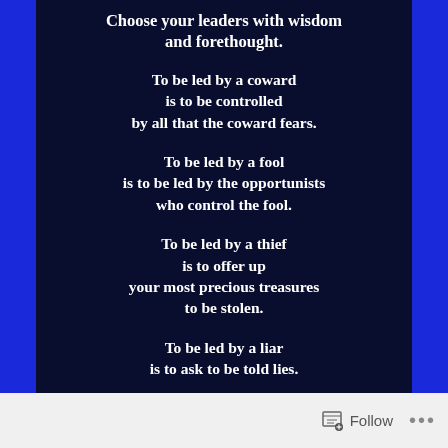[Figure (infographic): Dark navy blue background with bright blue side borders containing white bold serif text quote: 'Choose your leaders with wisdom and forethought. To be led by a coward is to be controlled by all that the coward fears. To be led by a fool is to be led by the opportunists who control the fool. To be led by a thief is to offer up your most precious treasures to be stolen. To be led by a liar is to ask to be told lies.']
Follow ...